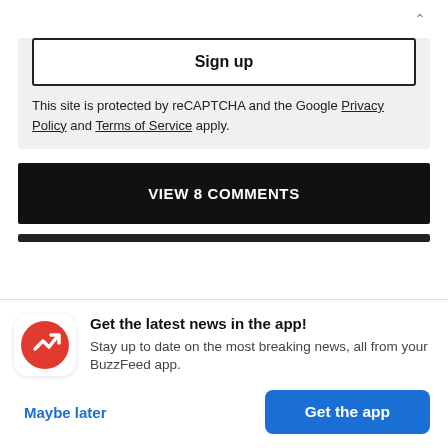Sign up
This site is protected by reCAPTCHA and the Google Privacy Policy and Terms of Service apply.
VIEW 8 COMMENTS
Get the latest news in the app! Stay up to date on the most breaking news, all from your BuzzFeed app.
Maybe later
Get the app